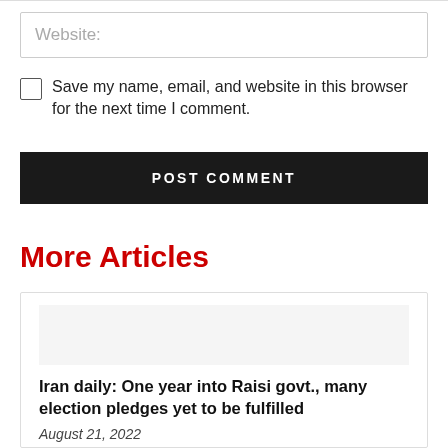Website:
Save my name, email, and website in this browser for the next time I comment.
POST COMMENT
More Articles
Iran daily: One year into Raisi govt., many election pledges yet to be fulfilled
August 21, 2022